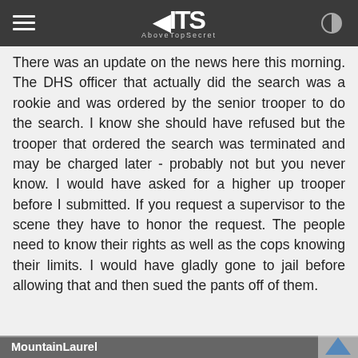ATS AboveTopSecret
There was an update on the news here this morning. The DHS officer that actually did the search was a rookie and was ordered by the senior trooper to do the search. I know she should have refused but the trooper that ordered the search was terminated and may be charged later - probably not but you never know. I would have asked for a higher up trooper before I submitted. If you request a supervisor to the scene they have to honor the request. The people need to know their rights as well as the cops knowing their limits. I would have gladly gone to jail before allowing that and then sued the pants off of them.
MountainLaurel
posted on Aug. 11 2013 @ 12:55 PM
This is the 3rd such video I have seen of this nature in the past month, absolutely makes me furious! Then to add to the whole nightmare that witch cop doesn't even change gloves,